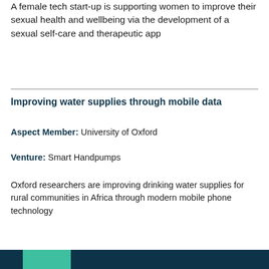A female tech start-up is supporting women to improve their sexual health and wellbeing via the development of a sexual self-care and therapeutic app
Improving water supplies through mobile data
Aspect Member: University of Oxford
Venture: Smart Handpumps
Oxford researchers are improving drinking water supplies for rural communities in Africa through modern mobile phone technology
[Figure (other): Decorative colored bar at the bottom of the page with dark teal and mint green sections]